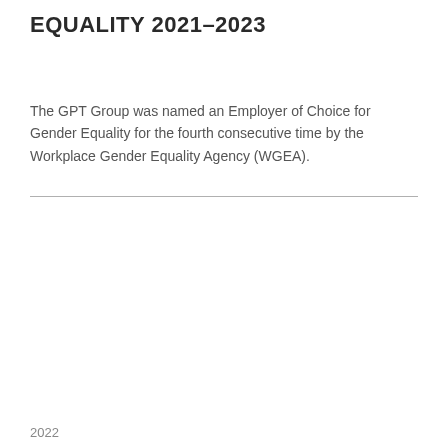EQUALITY 2021–2023
The GPT Group was named an Employer of Choice for Gender Equality for the fourth consecutive time by the Workplace Gender Equality Agency (WGEA).
2022